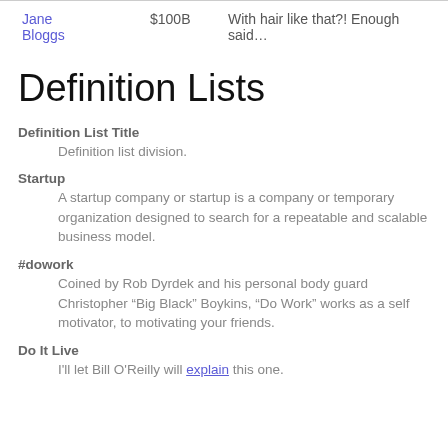| Jane Bloggs | $100B | With hair like that?! Enough said... |
Definition Lists
Definition List Title
Definition list division.
Startup
A startup company or startup is a company or temporary organization designed to search for a repeatable and scalable business model.
#dowork
Coined by Rob Dyrdek and his personal body guard Christopher "Big Black" Boykins, "Do Work" works as a self motivator, to motivating your friends.
Do It Live
I'll let Bill O'Reilly will explain this one.